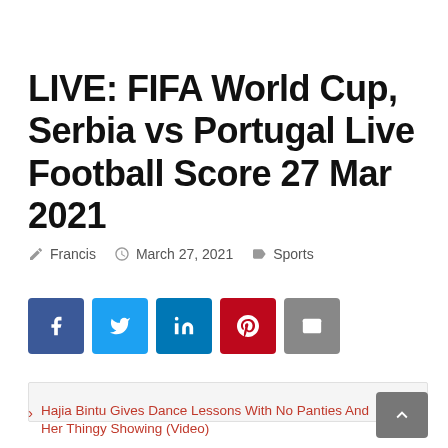LIVE: FIFA World Cup, Serbia vs Portugal Live Football Score 27 Mar 2021
Francis   March 27, 2021   Sports
[Figure (other): Row of 5 social share buttons: Facebook (blue), Twitter (light blue), LinkedIn (dark blue), Pinterest (red), Email (grey)]
[Figure (other): Advertisement banner placeholder, light grey background]
Hajia Bintu Gives Dance Lessons With No Panties And Her Thingy Showing (Video)
TikTok Sensation Tenia Decides To Show The...